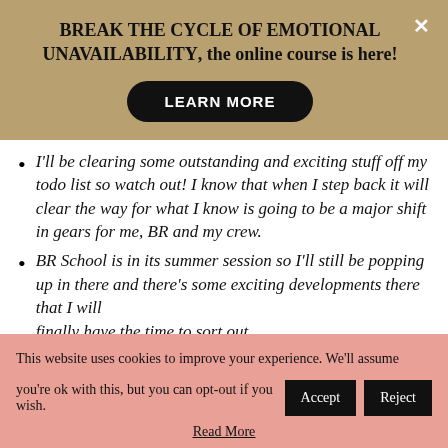BREAK THE CYCLE OF EMOTIONAL UNAVAILABILITY, the online course is here!
[Figure (other): Black rounded button with white text reading LEARN MORE]
I'll be clearing some outstanding and exciting stuff off my todo list so watch out! I know that when I step back it will clear the way for what I know is going to be a major shift in gears for me, BR and my crew.
BR School is in its summer session so I'll still be popping up in there and there's some exciting developments there that I will finally have the time to sort out.
This website uses cookies to improve your experience. We'll assume you're ok with this, but you can opt-out if you wish.
Read More